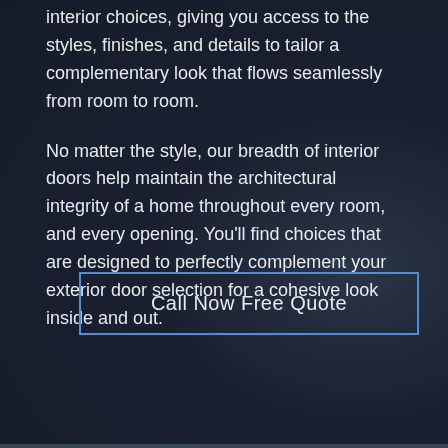interior choices, giving you access to the styles, finishes, and details to tailor a complementary look that flows seamlessly from room to room.
No matter the style, our breadth of interior doors help maintain the architectural integrity of a home throughout every room, and every opening. You'll find choices that are designed to perfectly complement your exterior door selection for a cohesive look inside and out.
Call Now Free Quote